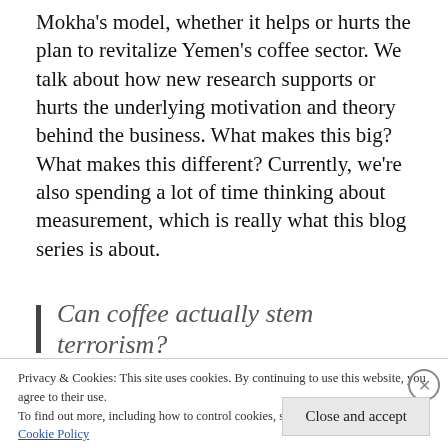Mokha's model, whether it helps or hurts the plan to revitalize Yemen's coffee sector. We talk about how new research supports or hurts the underlying motivation and theory behind the business. What makes this big? What makes this different? Currently, we're also spending a lot of time thinking about measurement, which is really what this blog series is about.
Can coffee actually stem terrorism?
Privacy & Cookies: This site uses cookies. By continuing to use this website, you agree to their use.
To find out more, including how to control cookies, see here: Cookie Policy